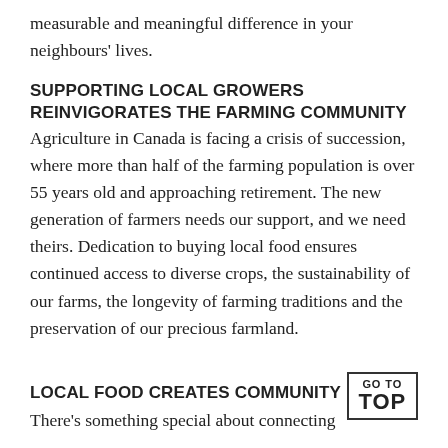measurable and meaningful difference in your neighbours' lives.
SUPPORTING LOCAL GROWERS REINVIGORATES THE FARMING COMMUNITY
Agriculture in Canada is facing a crisis of succession, where more than half of the farming population is over 55 years old and approaching retirement. The new generation of farmers needs our support, and we need theirs. Dedication to buying local food ensures continued access to diverse crops, the sustainability of our farms, the longevity of farming traditions and the preservation of our precious farmland.
LOCAL FOOD CREATES COMMUNITY
There’s something special about connecting